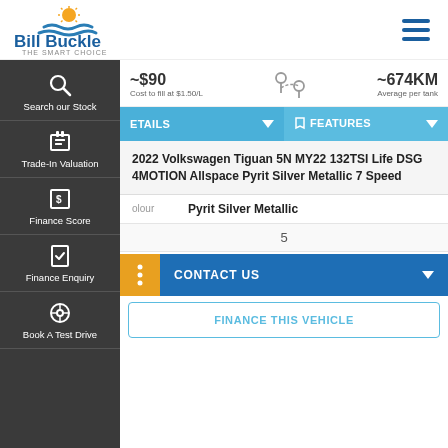[Figure (logo): Bill Buckle The Smart Choice logo with sun and waves]
~$90
Cost to fill at $1.50/L
~674KM
Average per tank
DETAILS
FEATURES
Search our Stock
Trade-In Valuation
Finance Score
Finance Enquiry
Book A Test Drive
2022 Volkswagen Tiguan 5N MY22 132TSI Life DSG 4MOTION Allspace Pyrit Silver Metallic 7 Speed
Colour   Pyrit Silver Metallic
5
CONTACT US
FINANCE THIS VEHICLE